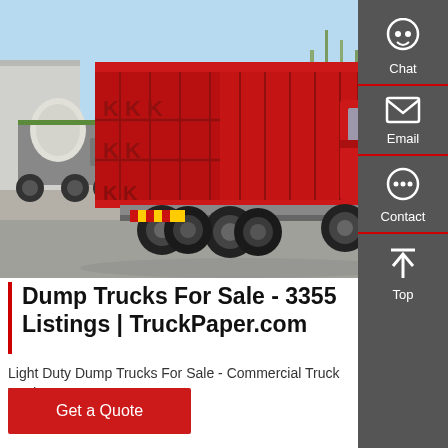[Figure (photo): Red dump truck parked in a lot, rear/side view, with a concrete mixer truck visible in the background on the left. Clear sky backdrop and industrial setting.]
Dump Trucks For Sale - 3355 Listings | TruckPaper.com
Light Duty Dump Trucks For Sale - Commercial Truck Trader